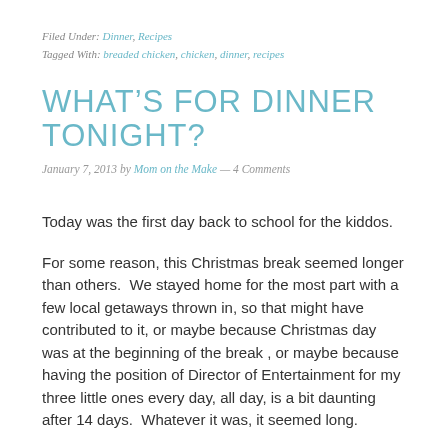Filed Under: Dinner, Recipes
Tagged With: breaded chicken, chicken, dinner, recipes
WHAT'S FOR DINNER TONIGHT?
January 7, 2013 by Mom on the Make — 4 Comments
Today was the first day back to school for the kiddos.
For some reason, this Christmas break seemed longer than others.  We stayed home for the most part with a few local getaways thrown in, so that might have contributed to it, or maybe because Christmas day was at the beginning of the break , or maybe because having the position of Director of Entertainment for my three little ones every day, all day, is a bit daunting after 14 days.  Whatever it was, it seemed long.
So, this morning, the school morning rush began once again.